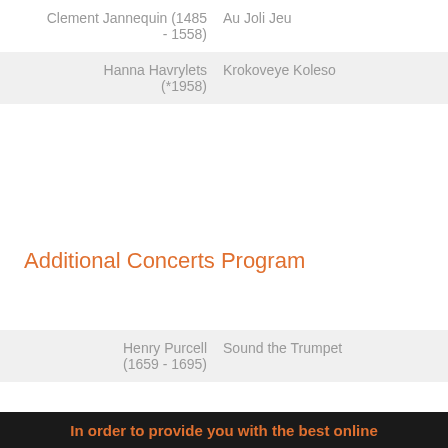| Composer | Work |
| --- | --- |
| Clement Jannequin (1485 - 1558) | Au Joli Jeu |
| Hanna Havrylets (*1958) | Krokoveye Koleso |
Additional Concerts Program
| Composer | Work |
| --- | --- |
| Henry Purcell (1659 - 1695) | Sound the Trumpet |
In order to provide you with the best online